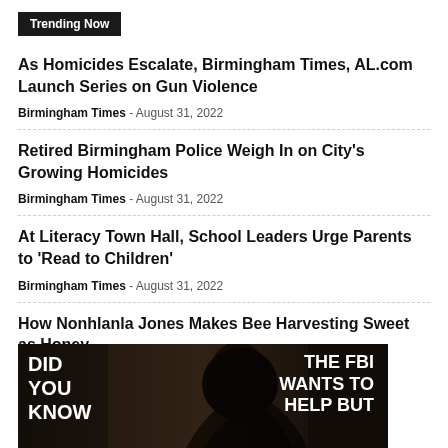Trending Now
As Homicides Escalate, Birmingham Times, AL.com Launch Series on Gun Violence
Birmingham Times  -  August 31, 2022
Retired Birmingham Police Weigh In on City's Growing Homicides
Birmingham Times  -  August 31, 2022
At Literacy Town Hall, School Leaders Urge Parents to 'Read to Children'
Birmingham Times  -  August 31, 2022
How Nonhlanla Jones Makes Bee Harvesting Sweet as Honey
Birmingham Times  -  August 31, 2022
[Figure (photo): Image with text overlay. Left side reads 'DID YOU KNOW' and right side reads 'THE FBI WANTS TO HELP BUT' on dark background with a person's silhouette.]